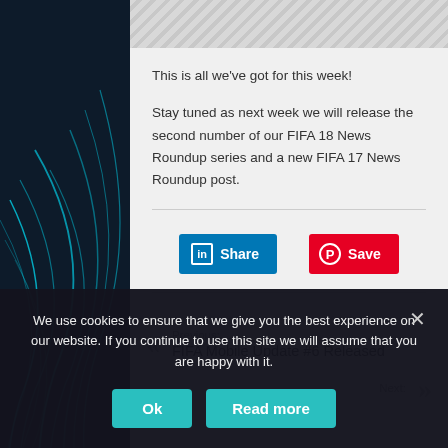This is all we've got for this week!
Stay tuned as next week we will release the second number of our FIFA 18 News Roundup series and a new FIFA 17 News Roundup post.
[Figure (other): LinkedIn Share button and Pinterest Save button]
Previous: FIFA Mobile Update #6 Released
Next:
We use cookies to ensure that we give you the best experience on our website. If you continue to use this site we will assume that you are happy with it.